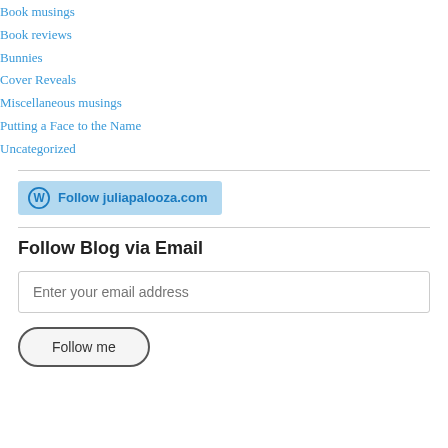Book musings
Book reviews
Bunnies
Cover Reveals
Miscellaneous musings
Putting a Face to the Name
Uncategorized
[Figure (other): WordPress Follow button with text 'Follow juliapalooza.com' on a light blue background]
Follow Blog via Email
Enter your email address
Follow me